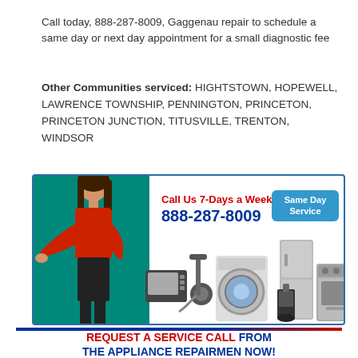Call today, 888-287-8009, Gaggenau repair to schedule a same day or next day appointment for a small diagnostic fee
Other Communities serviced: HIGHTSTOWN, HOPEWELL, LAWRENCE TOWNSHIP, PENNINGTON, PRINCETON, PRINCETON JUNCTION, TITUSVILLE, TRENTON, WINDSOR
[Figure (infographic): Appliance repair service banner with woman in red top pointing at appliances. Text: 'Call Us 7-Days a Week 888-287-8009' and 'Same Day Service' badge. Various appliances shown: washing machine, vacuum, microwave, refrigerator, oven, coffee maker.]
REQUEST A SERVICE CALL FROM THE APPLIANCE REPAIRMEN NOW!